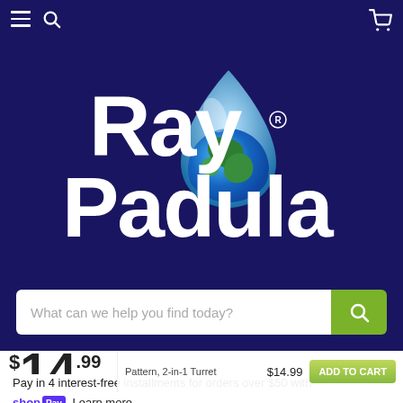Ray Padula (navigation header with hamburger, search, cart icons)
[Figure (logo): Ray Padula logo: large white bold text 'Ray Padula' with a water droplet containing an Earth globe image, on dark navy background]
What can we help you find today?
$14.99
Pattern, 2-in-1 Turret
$14.99  ADD TO CART
Pay in 4 interest-free installments for orders over $50 with shop Pay Learn more
The perfect item to go along with this one!
Select to add to your cart...